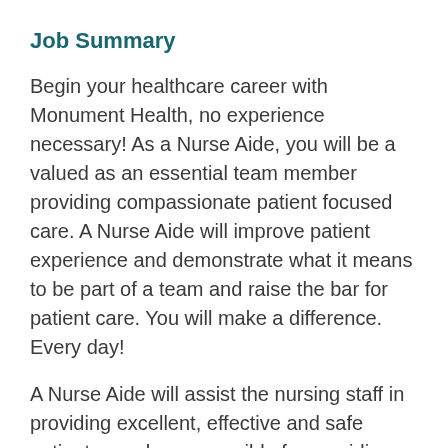Job Summary
Begin your healthcare career with Monument Health, no experience necessary! As a Nurse Aide, you will be a valued as an essential team member providing compassionate patient focused care. A Nurse Aide will improve patient experience and demonstrate what it means to be part of a team and raise the bar for patient care. You will make a difference. Every day!
A Nurse Aide will assist the nursing staff in providing excellent, effective and safe patient care, be responsible for providing patient personal care, bathing, and